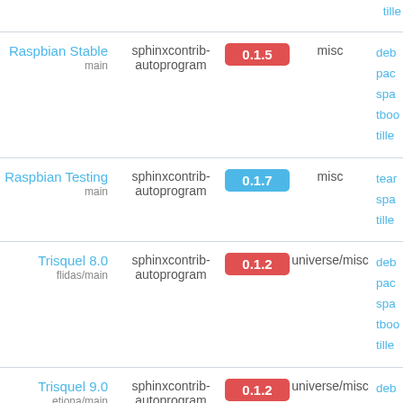| Distribution | Package | Version | Section | Links |
| --- | --- | --- | --- | --- |
| Raspbian Stable
main | sphinxcontrib-autoprogram | 0.1.5 | misc | deb
pac
spa
tboo
tille |
| Raspbian Testing
main | sphinxcontrib-autoprogram | 0.1.7 | misc | tear
spa
tille |
| Trisquel 8.0
flidas/main | sphinxcontrib-autoprogram | 0.1.2 | universe/misc | deb
pac
spa
tboo
tille |
| Trisquel 9.0
etiona/main | sphinxcontrib-autoprogram | 0.1.2 | universe/misc | deb
pac
spa
tboo
tille |